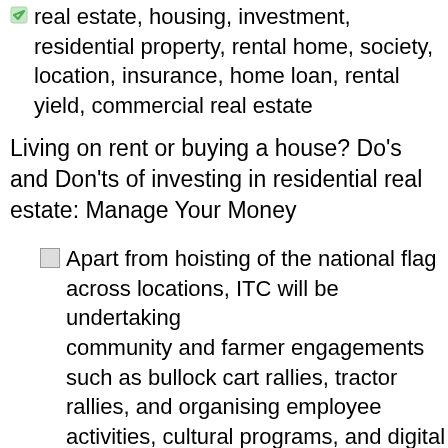real estate, housing, investment, residential property, rental home, society, location, insurance, home loan, rental yield, commercial real estate
Living on rent or buying a house? Do's and Don'ts of investing in residential real estate: Manage Your Money
[Figure (photo): Broken image icon followed by text about ITC hoisting national flag and community engagements]
Apart from hoisting of the national flag across locations, ITC will be undertaking community and farmer engagements such as bullock cart rallies, tractor rallies, and organising employee activities, cultural programs, and digital campaigns.
Independence Day 2022: ITC launches corporate film to celebrate the contributions of India's